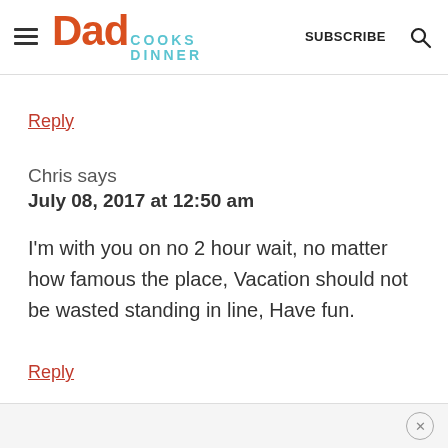Dad Cooks Dinner — SUBSCRIBE
Reply
Chris says
July 08, 2017 at 12:50 am
I'm with you on no 2 hour wait, no matter how famous the place, Vacation should not be wasted standing in line, Have fun.
Reply